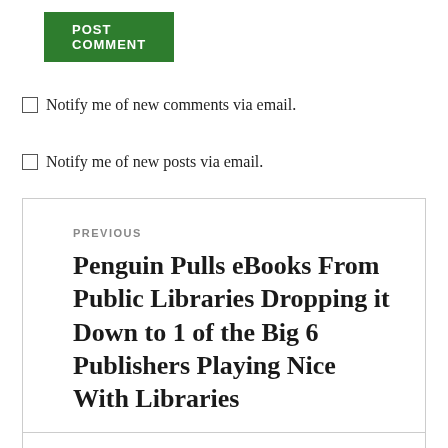[Figure (other): Green POST COMMENT button]
Notify me of new comments via email.
Notify me of new posts via email.
PREVIOUS
Penguin Pulls eBooks From Public Libraries Dropping it Down to 1 of the Big 6 Publishers Playing Nice With Libraries